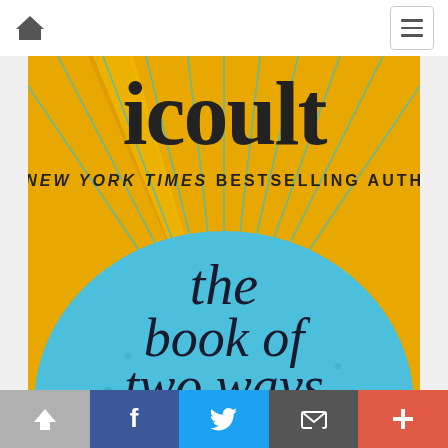[Figure (screenshot): Navigation bar with home icon on left and hamburger menu button on right, white background]
[Figure (illustration): Book cover of 'The Book of Two Ways' by Jodi Picoult showing partial author name 'Picoult' in large letters at top, text '#1 New York Times Bestselling Author', golden sun rays radiating from a central point over a turquoise/blue semicircle, with book title 'the book of two ways' in large dark serif text on the blue circle]
[Figure (screenshot): Social sharing bar at bottom with five buttons: up arrow (gray), Facebook f (blue), Twitter bird (light blue), email/envelope (dark gray), and plus sign (coral/red-orange)]